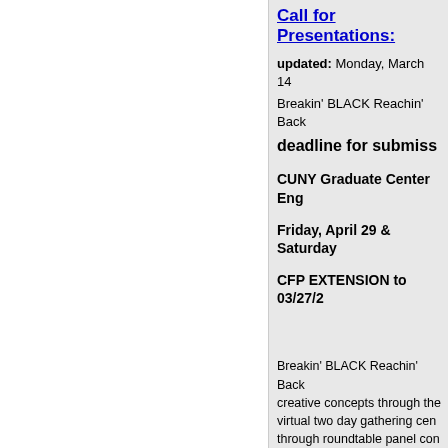Call for Presentations:
updated: Monday, March 14
Breakin' BLACK Reachin' Back
deadline for submiss
CUNY Graduate Center Eng
Friday, April 29 & Saturday
CFP EXTENSION to 03/27/2
Breakin' BLACK Reachin' Back creative concepts through the virtual two day gathering cen through roundtable panel con followed by discussion/Q&A, a